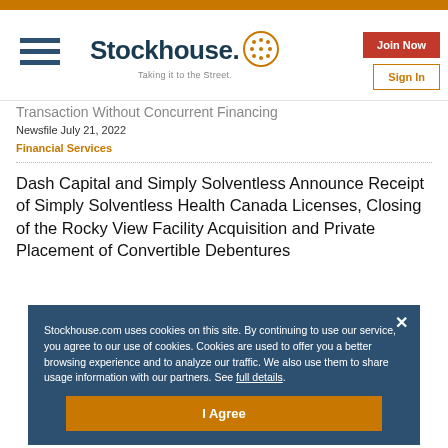Stockhouse — Taking it to the Street.
Transaction Without Concurrent Financing
Newsfile July 21, 2022
Financial Services
Dash Capital and Simply Solventless Announce Receipt of Simply Solventless Health Canada Licenses, Closing of the Rocky View Facility Acquisition and Private Placement of Convertible Debentures
Stockhouse.com uses cookies on this site. By continuing to use our service, you agree to our use of cookies. Cookies are used to offer you a better browsing experience and to analyze our traffic. We also use them to share usage information with our partners. See full details.
I Agree